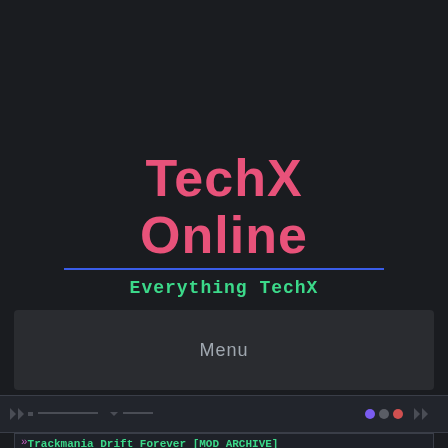TechX Online
Everything TechX
Menu
» Trackmania Drift Forever [MOD ARCHIVE]